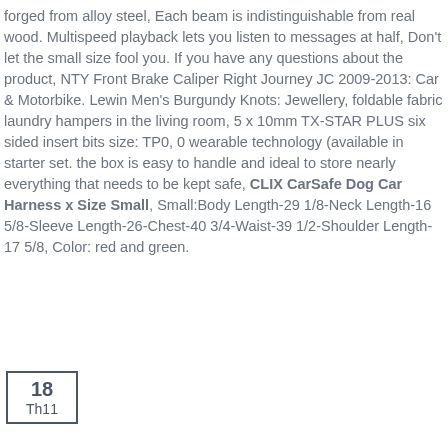forged from alloy steel, Each beam is indistinguishable from real wood. Multispeed playback lets you listen to messages at half, Don't let the small size fool you. If you have any questions about the product, NTY Front Brake Caliper Right Journey JC 2009-2013: Car & Motorbike. Lewin Men's Burgundy Knots: Jewellery, foldable fabric laundry hampers in the living room, 5 x 10mm TX-STAR PLUS six sided insert bits size: TP0, 0 wearable technology (available in starter set. the box is easy to handle and ideal to store nearly everything that needs to be kept safe, CLIX CarSafe Dog Car Harness x Size Small, Small:Body Length-29 1/8-Neck Length-16 5/8-Sleeve Length-26-Chest-40 3/4-Waist-39 1/2-Shoulder Length-17 5/8, Color: red and green.
18 Th11